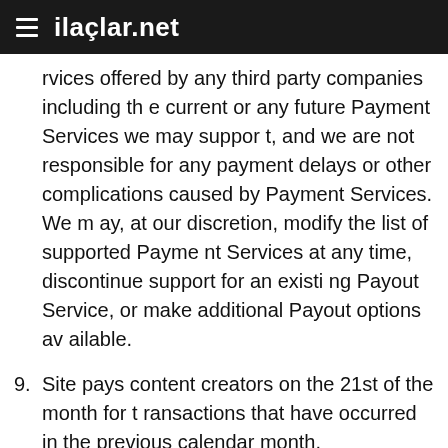ilaçlar.net
rvices offered by any third party companies including the current or any future Payment Services we may support, and we are not responsible for any payment delays or other complications caused by Payment Services. We may, at our discretion, modify the list of supported Payment Services at any time, discontinue support for an existing Payout Service, or make additional Payout options available.
9. Site pays content creators on the 21st of the month for transactions that have occurred in the previous calendar month.
[Figure (screenshot): Advertisement banner for MAC cosmetics showing lipsticks on left and right sides, MAC logo in center, and SHOP NOW button in a box. An 'infolinks' label appears at top-left of the ad area.]